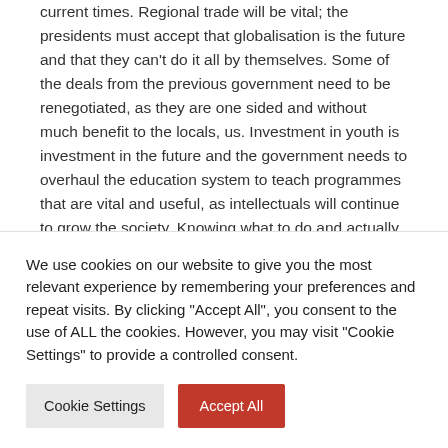current times. Regional trade will be vital; the presidents must accept that globalisation is the future and that they can't do it all by themselves. Some of the deals from the previous government need to be renegotiated, as they are one sided and without much benefit to the locals, us. Investment in youth is investment in the future and the government needs to overhaul the education system to teach programmes that are vital and useful, as intellectuals will continue to grow the society. Knowing what to do and actually doing it are two different things. The president should implement a structure of administration where
We use cookies on our website to give you the most relevant experience by remembering your preferences and repeat visits. By clicking "Accept All", you consent to the use of ALL the cookies. However, you may visit "Cookie Settings" to provide a controlled consent.